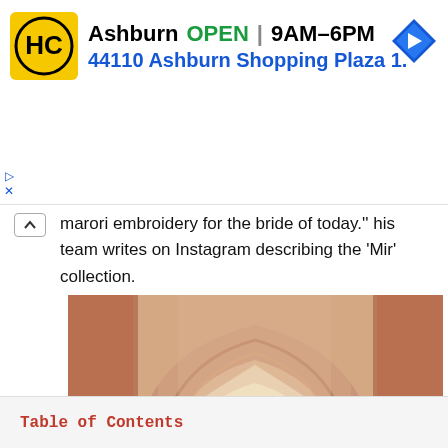[Figure (screenshot): Advertisement banner for Hairclub (HC) showing yellow logo, 'Ashburn OPEN 9AM-6PM' text in black and green, '44110 Ashburn Shopping Plaza 1.' address in blue, and a blue navigation arrow icon on the right.]
marori embroidery for the bride of today.'' his team writes on Instagram describing the 'Mir' collection.
[Figure (photo): Photo of an ornate Islamic archway in warm terracotta/sandstone tones with a pointed arch design. Through the archway, bright light illuminates a smaller arch beyond. The word 'Mir' appears in elegant script at the bottom of the image.]
Table of Contents